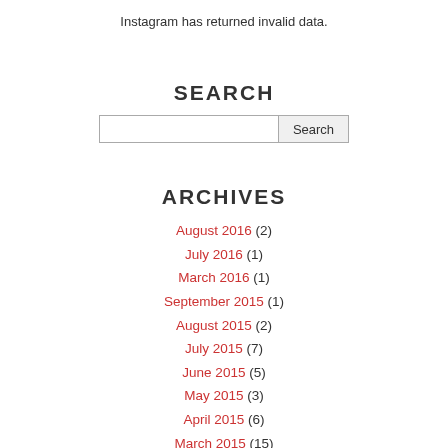Instagram has returned invalid data.
SEARCH
[ search input ] Search
ARCHIVES
August 2016 (2)
July 2016 (1)
March 2016 (1)
September 2015 (1)
August 2015 (2)
July 2015 (7)
June 2015 (5)
May 2015 (3)
April 2015 (6)
March 2015 (15)
February 2015 (15)
January 2015 (2)